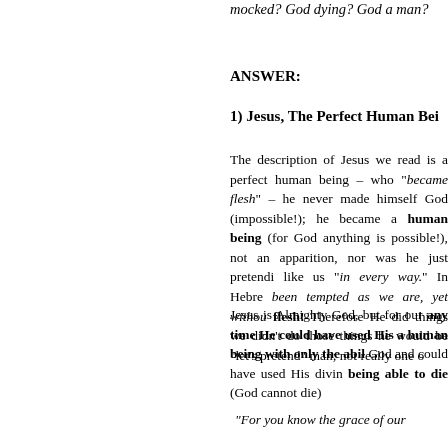mocked? God dying? God a man?
ANSWER:
1) Jesus, The Perfect Human Being
The description of Jesus we read is a perfect human being – who "became flesh" – he never made himself God (impossible!); he became a human being (for God anything is possible!), not an apparition, nor was he just pretending to be human like us "in every way." In Hebrews: "He has been tempted as we are, yet without sin." He took flesh! Therefore He did things we do, and if he didn't do those things he would be a fraud, a "let's pretend" man; not really one of us.
Jesus is Almighty God, but for our salvation at any time He could have used His power – but as a human being with only the abilities of man. God and could have used His divine power, while being able to die (God cannot die)
"For you know the grace of our